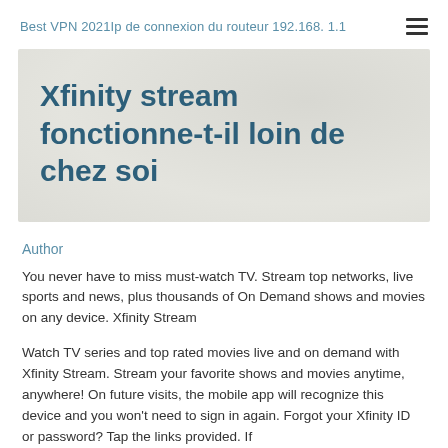Best VPN 2021Ip de connexion du routeur 192.168. 1.1
Xfinity stream fonctionne-t-il loin de chez soi
Author
You never have to miss must-watch TV. Stream top networks, live sports and news, plus thousands of On Demand shows and movies on any device. Xfinity Stream
Watch TV series and top rated movies live and on demand with Xfinity Stream. Stream your favorite shows and movies anytime, anywhere! On future visits, the mobile app will recognize this device and you won't need to sign in again. Forgot your Xfinity ID or password? Tap the links provided. If